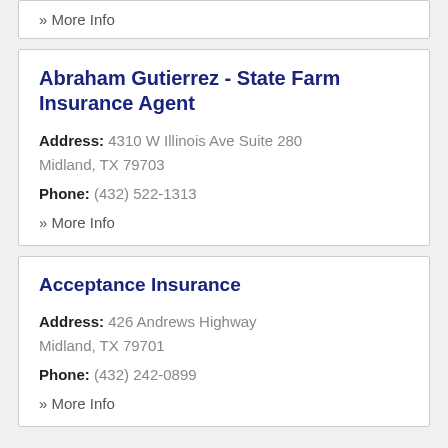» More Info
Abraham Gutierrez - State Farm Insurance Agent
Address: 4310 W Illinois Ave Suite 280 Midland, TX 79703
Phone: (432) 522-1313
» More Info
Acceptance Insurance
Address: 426 Andrews Highway Midland, TX 79701
Phone: (432) 242-0899
» More Info